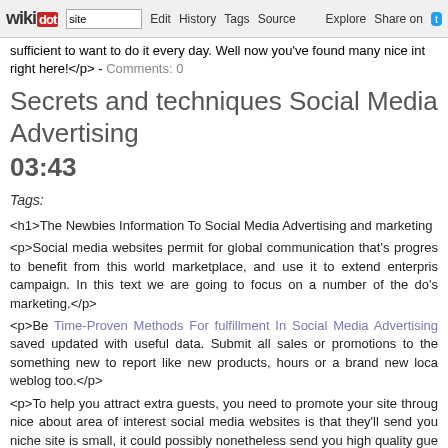wikidot | site | Edit | History | Tags | Source | Explore | Share on Twitter
sufficient to want to do it every day. Well now you've found many nice int right here!</p> - Comments: 0
Secrets and techniques Social Media Advertising 03:43
Tags:
<h1>The Newbies Information To Social Media Advertising and marketing
<p>Social media websites permit for global communication that's progres to benefit from this world marketplace, and use it to extend enterpris campaign. In this text we are going to focus on a number of the do's marketing.</p>
<p>Be Time-Proven Methods For fulfillment In Social Media Advertising saved updated with useful data. Submit all sales or promotions to the something new to report like new products, hours or a brand new loca weblog too.</p>
<p>To help you attract extra guests, you need to promote your site throug nice about area of interest social media websites is that they'll send you niche site is small, it could possibly nonetheless send you high quality gue thing out of your site as a result of they have already got an interest in you
<p>Make a decision about whether or not or not you want to have relat sales, keep bells and whistles to a minimal, and use social media for co your prospects to purchase your merchandise now and again, begin o